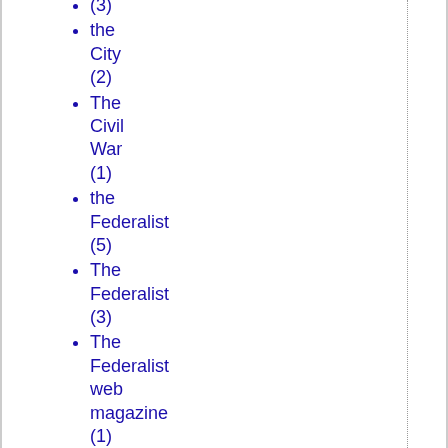(3)
the City (2)
The Civil War (1)
the Federalist (5)
The Federalist (3)
The Federalist web magazine (1)
the importance of Christ (1)
the